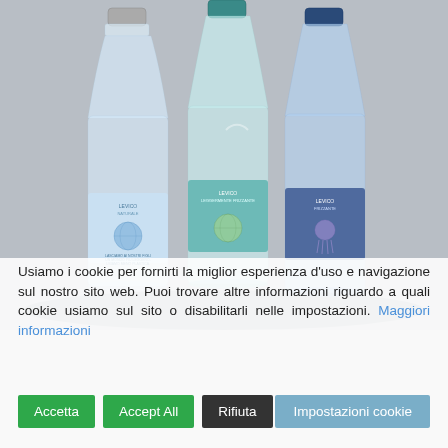[Figure (photo): Three glass water bottles labeled 'Levico' with different label colors (light/natural, teal/lightly sparkling, dark blue/sparkling) on a gray background. The bottles have environmental-themed labels showing globe and jellyfish imagery. Text visible on the left bottle reads 'LASCIAMO AI NOSTRI FIGLI UN MONDO PIÙ LEGGERO. USIAMO MENO PLASTICA.']
Usiamo i cookie per fornirti la miglior esperienza d'uso e navigazione sul nostro sito web. Puoi trovare altre informazioni riguardo a quali cookie usiamo sul sito o disabilitarli nelle impostazioni. Maggiori informazioni
Accetta
Accept All
Rifiuta
Impostazioni cookie